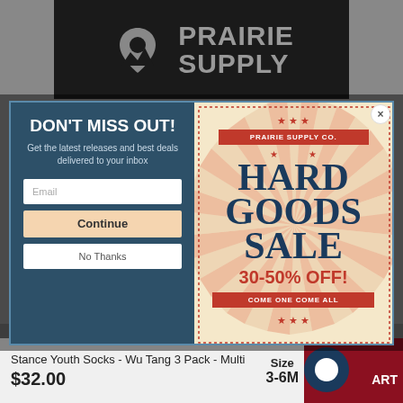[Figure (logo): Prairie Supply Co logo — black rectangle with a map pin icon and 'PRAIRIE SUPPLY' text in gray]
[Figure (screenshot): Modal popup with two panels: left panel with 'DON'T MISS OUT!' email signup form, right panel with 'HARD GOODS SALE 30-50% OFF! COME ONE COME ALL' promotional banner]
DON'T MISS OUT!
Get the latest releases and best deals delivered to your inbox
Email
Continue
No Thanks
[Figure (illustration): Prairie Supply Co Hard Goods Sale promotional banner with sunburst background, red ribbon, stars, and sale text]
Stance Youth Socks - Wu Tang 3 Pack - Multi
$32.00
Size
3-6M